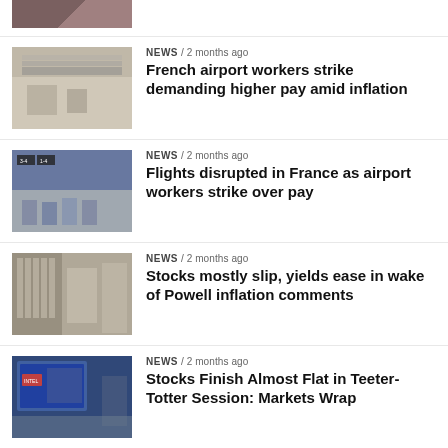[Figure (photo): Partial news thumbnail at top of page (cropped)]
NEWS / 2 months ago
French airport workers strike demanding higher pay amid inflation
[Figure (photo): Airport terminal with departures board]
NEWS / 2 months ago
Flights disrupted in France as airport workers strike over pay
[Figure (photo): New York Stock Exchange building exterior]
NEWS / 2 months ago
Stocks mostly slip, yields ease in wake of Powell inflation comments
[Figure (photo): Stock market screen display]
NEWS / 2 months ago
Stocks Finish Almost Flat in Teeter-Totter Session: Markets Wrap
[Figure (photo): Partial news thumbnail at bottom (cropped)]
NEWS / 2 months ago